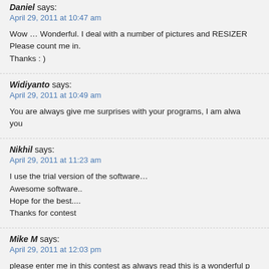Daniel says:
April 29, 2011 at 10:47 am
Wow … Wonderful. I deal with a number of pictures and RESIZER Please count me in. Thanks : )
Widiyanto says:
April 29, 2011 at 10:49 am
You are always give me surprises with your programs, I am always watching you
Nikhil says:
April 29, 2011 at 11:23 am
I use the trial version of the software… Awesome software.. Hope for the best.... Thanks for contest
Mike M says:
April 29, 2011 at 12:03 pm
please enter me in this contest as always read this is a wonderful p